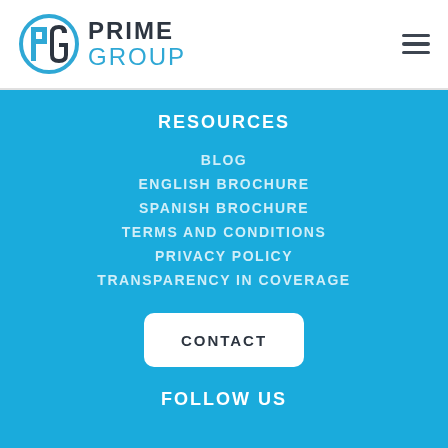[Figure (logo): Prime Group logo with stylized PG monogram in blue and dark grey, with PRIME GROUP text]
RESOURCES
BLOG
ENGLISH BROCHURE
SPANISH BROCHURE
TERMS AND CONDITIONS
PRIVACY POLICY
TRANSPARENCY IN COVERAGE
CONTACT
FOLLOW US